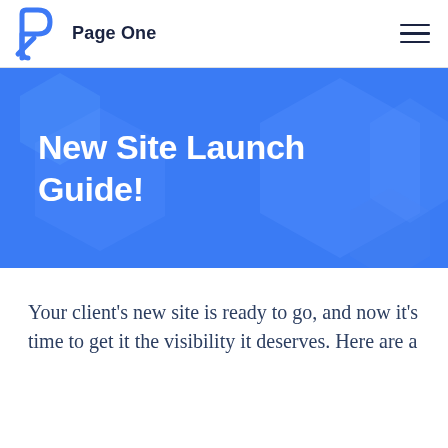Page One
[Figure (illustration): Blue P-shaped logo with 'Page One' text and hamburger menu icon on white header bar]
New Site Launch Guide!
Your client's new site is ready to go, and now it's time to get it the visibility it deserves. Here are a